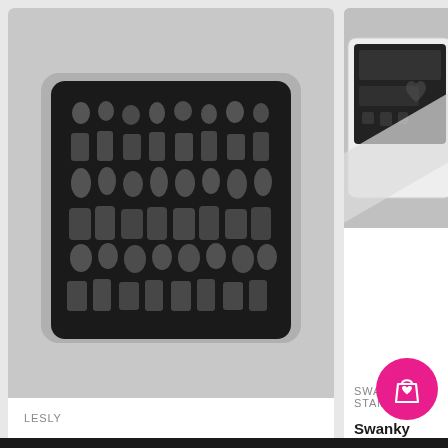[Figure (photo): Black nail stamping plate with many small engraved figures and designs arranged in a grid on a white/grey tray]
LESLY
Lesly - Girls 1 Stamping Plate
$ 12.75
[Figure (photo): Swanky Stamping product — white rectangular stamping tray with dark stamping plate and accessories visible]
SWANKY STAMPING
Swanky Stamping - With Swanky 01 Sta...
$ 7.99
[Figure (other): Pink circular button with shopping bag and heart icon]